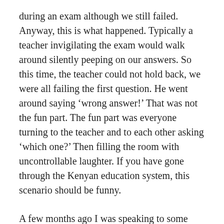during an exam although we still failed. Anyway, this is what happened. Typically a teacher invigilating the exam would walk around silently peeping on our answers. So this time, the teacher could not hold back, we were all failing the first question. He went around saying ‘wrong answer!’ That was not the fun part. The fun part was everyone turning to the teacher and to each other asking ‘which one?’ Then filling the room with uncontrollable laughter. If you have gone through the Kenyan education system, this scenario should be funny.
A few months ago I was speaking to some teenagers on matters purity. I had some questions written down to stir them up for a discussion. most of them started giving me wrong answers. For example, I asked them if they were virgins and most of them answered by giving excuses why it was